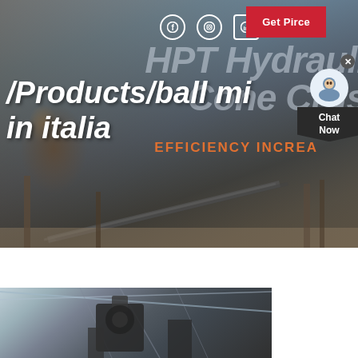[Figure (photo): Industrial mining/crushing plant with heavy machinery, conveyor belts, and equipment against a sky background. Overlay text and navigation elements.]
/Products/ball mi
in italia
[Figure (photo): Close-up of industrial machinery (ball mill equipment) inside a factory/warehouse setting with steel roof structure visible.]